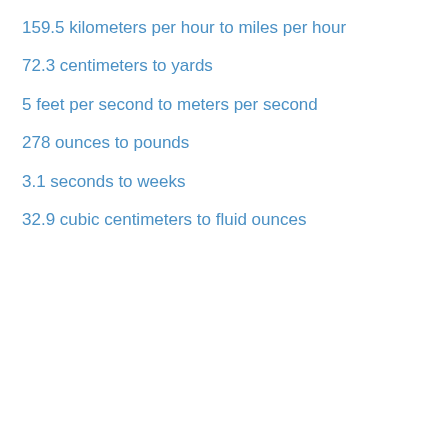159.5 kilometers per hour to miles per hour
72.3 centimeters to yards
5 feet per second to meters per second
278 ounces to pounds
3.1 seconds to weeks
32.9 cubic centimeters to fluid ounces